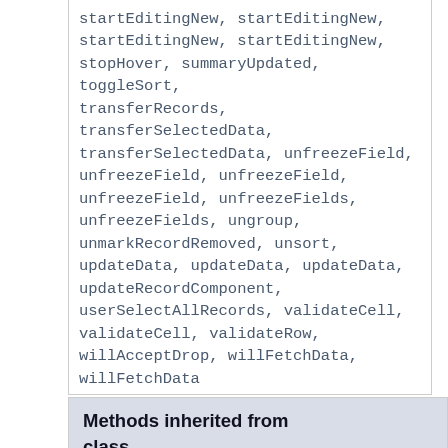startEditingNew, startEditingNew, startEditingNew, startEditingNew, stopHover, summaryUpdated, toggleSort, transferRecords, transferSelectedData, transferSelectedData, unfreezeField, unfreezeField, unfreezeField, unfreezeField, unfreezeFields, unfreezeFields, ungroup, unmarkRecordRemoved, unsort, updateData, updateData, updateData, updateRecordComponent, userSelectAllRecords, validateCell, validateCell, validateRow, willAcceptDrop, willFetchData, willFetchData
Methods inherited from class com.smartgwt.client.widgets.layou
setDefaultProperties,